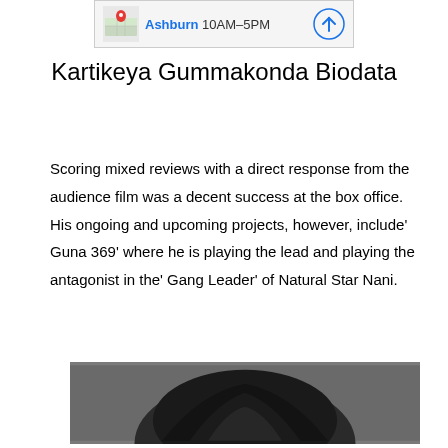[Figure (screenshot): Google Maps banner showing Ashburn 10AM-5PM with map pin icon and directions arrow]
Kartikeya Gummakonda Biodata
Scoring mixed reviews with a direct response from the audience film was a decent success at the box office. His ongoing and upcoming projects, however, include' Guna 369' where he is playing the lead and playing the antagonist in the' Gang Leader' of Natural Star Nani.
[Figure (photo): Partial photo showing the top of a person's head with dark hair against a dark background]